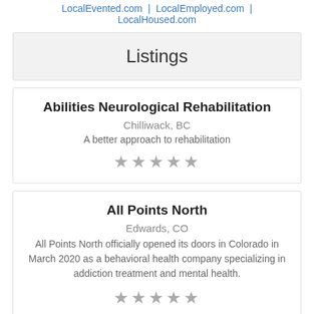LocalEvented.com | LocalEmployed.com | LocalHoused.com
Listings
Abilities Neurological Rehabilitation
Chilliwack, BC
A better approach to rehabilitation
★★★★★
All Points North
Edwards, CO
All Points North officially opened its doors in Colorado in March 2020 as a behavioral health company specializing in addiction treatment and mental health.
★★★★★